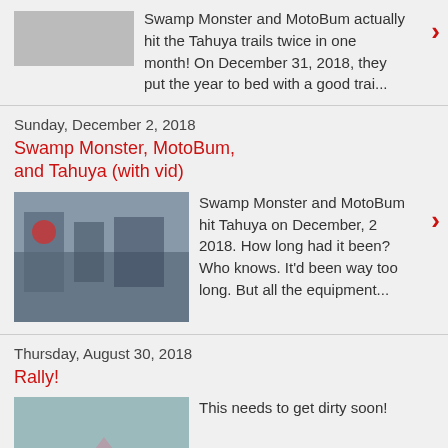Swamp Monster and MotoBum actually hit the Tahuya trails twice in one month! On December 31, 2018, they put the year to bed with a good trai...
Sunday, December 2, 2018
Swamp Monster, MotoBum, and Tahuya (with vid)
Swamp Monster and MotoBum hit Tahuya on December, 2 2018. How long had it been? Who knows. It'd been way too long. But all the equipment...
Thursday, August 30, 2018
Rally!
This needs to get dirty soon!
1 comment: